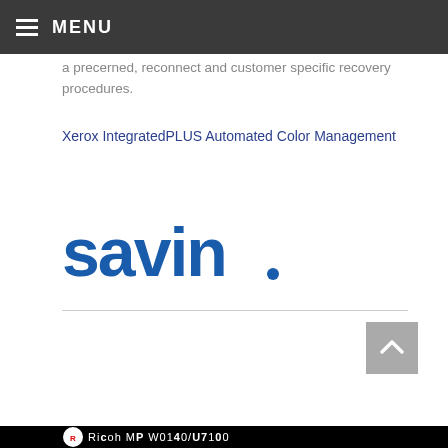MENU
a precerned, reconnect and customer specific recovery procedures.
Xerox IntegratedPLUS Automated Color Management
[Figure (logo): Savin logo in blue bold text with registered trademark symbol]
[Figure (logo): Ricoh logo bar at bottom with white text partially visible]